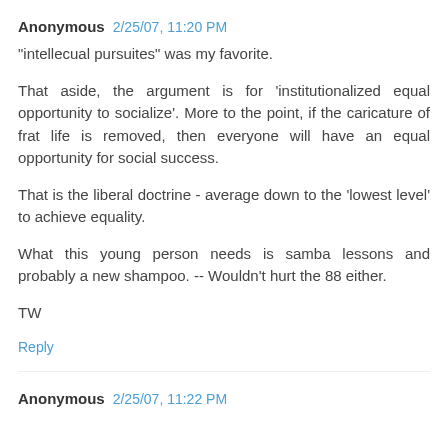Anonymous 2/25/07, 11:20 PM
"intellecual pursuites" was my favorite.
That aside, the argument is for 'institutionalized equal opportunity to socialize'. More to the point, if the caricature of frat life is removed, then everyone will have an equal opportunity for social success.
That is the liberal doctrine - average down to the 'lowest level' to achieve equality.
What this young person needs is samba lessons and probably a new shampoo. -- Wouldn't hurt the 88 either.
TW
Reply
Anonymous 2/25/07, 11:22 PM